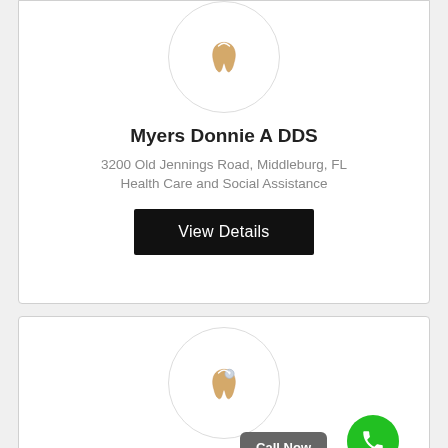[Figure (logo): Tooth icon in a circle for Myers Donnie A DDS]
Myers Donnie A DDS
3200 Old Jennings Road, Middleburg, FL
Health Care and Social Assistance
View Details
[Figure (logo): Tooth with gem icon in a circle for Myers Pediatric Dentistry Pa]
Call Now
Myers Pediatric Dentistry Pa